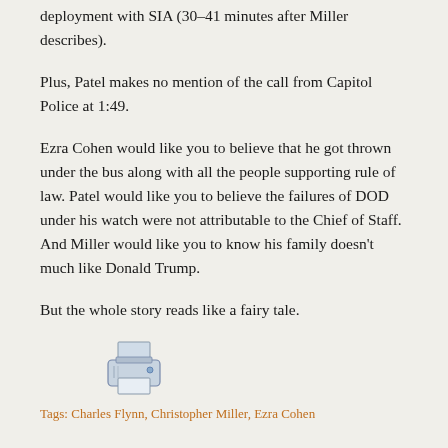deployment with SIA (30–41 minutes after Miller describes).
Plus, Patel makes no mention of the call from Capitol Police at 1:49.
Ezra Cohen would like you to believe that he got thrown under the bus along with all the people supporting rule of law. Patel would like you to believe the failures of DOD under his watch were not attributable to the Chief of Staff. And Miller would like you to know his family doesn't much like Donald Trump.
But the whole story reads like a fairy tale.
[Figure (illustration): A small printer icon illustration]
Tags: Charles Flynn, Christopher Miller, Ezra Cohen